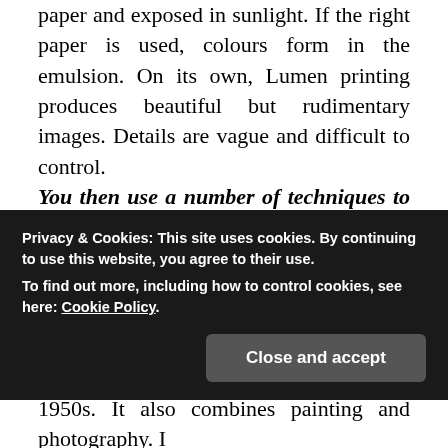Sun Printing: An object is placed onto light-sensitive paper and exposed in sunlight. If the right paper is used, colours form in the emulsion. On its own, Lumen printing produces beautiful but rudimentary images. Details are vague and difficult to control.
You then use a number of techniques to embellish that basic Lumen print: cliché-verre, chemigram and so on. How do you use these?
Cliché-verre combines painting and photography. It was developed in the nineteenth-century and popularised by artists such as Man Ray. In this technique, glass is laid over light-sensitive paper. This
Privacy & Cookies: This site uses cookies. By continuing to use this website, you agree to their use.
To find out more, including how to control cookies, see here: Cookie Policy
Close and accept
1950s. It also combines painting and photography. I